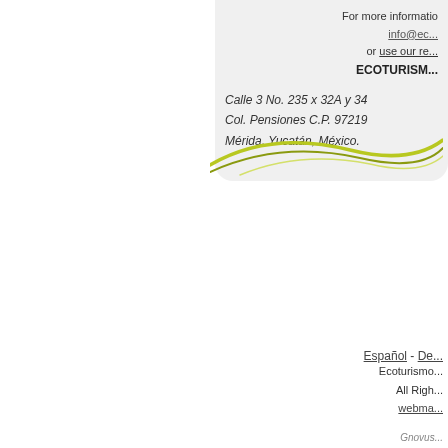For more information: info@ec... or use our re... ECOTURISM...
Calle 3 No. 235 x 32A y 34
Col. Pensiones C.P. 97219
Mérida, Yucatán, México.
[Figure (illustration): Decorative olive/yellow-green swoosh curves at the bottom of the contact box]
Español - De...
Ecoturismo... All Righ... webma...
Gnovus